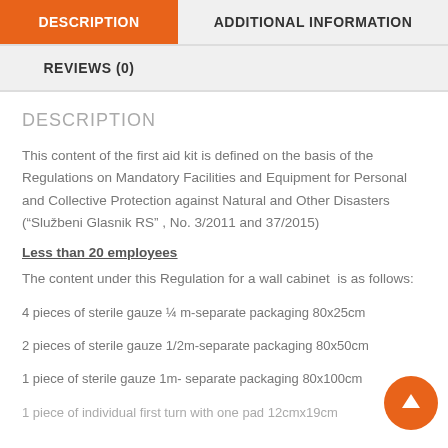DESCRIPTION
ADDITIONAL INFORMATION
REVIEWS (0)
DESCRIPTION
This content of the first aid kit is defined on the basis of the Regulations on Mandatory Facilities and Equipment for Personal and Collective Protection against Natural and Other Disasters (“Službeni Glasnik RS” , No. 3/2011 and 37/2015)
Less than 20 employees
The content under this Regulation for a wall cabinet  is as follows:
4 pieces of sterile gauze ¼ m-separate packaging 80x25cm
2 pieces of sterile gauze 1/2m-separate packaging 80x50cm
1 piece of sterile gauze 1m- separate packaging 80x100cm
1 piece of individual first turn with one pad 12cmx19cm